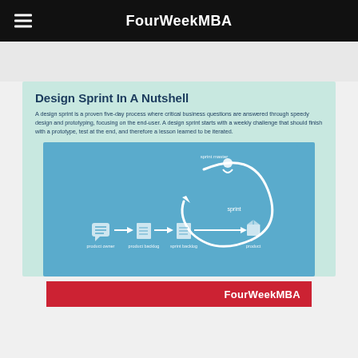FourWeekMBA
Design Sprint In A Nutshell
A design sprint is a proven five-day process where critical business questions are answered through speedy design and prototyping, focusing on the end-user. A design sprint starts with a weekly challenge that should finish with a prototype, test at the end, and therefore a lesson learned to be iterated.
[Figure (flowchart): Design sprint process diagram showing sprint backlog, product backlog, sprint backlog, and product stages with arrows and a circular sprint loop labeled 'sprint' with 'sprint master' at top.]
FourWeekMBA